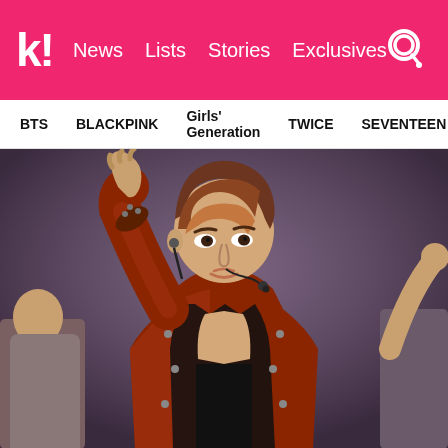k! News Lists Stories Exclusives
BTS  BLACKPINK  Girls' Generation  TWICE  SEVENTEEN
[Figure (photo): K-pop male performer on stage with arm raised, wearing a red/brown leather jacket open at the chest, with a headset microphone, brown hair, performing at a concert. Other performers partially visible on left and right.]